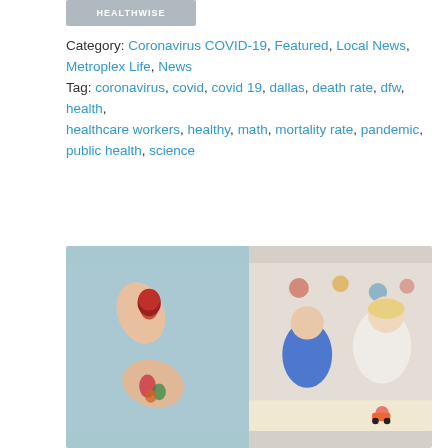[Figure (logo): Partially visible logo/header image at top]
Category: Coronavirus COVID-19, Featured, Local News, Metroplex Life, News
Tag: coronavirus, covid, covid 19, dallas, death rate, dfw, health, healthcare workers, healthy, math, mortality rate, pandemic, public health, science
[Figure (photo): Two side-by-side photos: left shows tattooed hands holding an apple on a light blue background; right shows children playing on the floor in a colorful room]